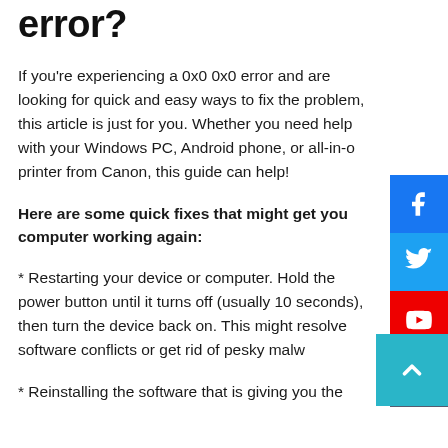error?
If you're experiencing a 0x0 0x0 error and are looking for quick and easy ways to fix the problem, this article is just for you. Whether you need help with your Windows PC, Android phone, or all-in-one printer from Canon, this guide can help!
Here are some quick fixes that might get your computer working again:
* Restarting your device or computer. Hold the power button until it turns off (usually 10 seconds), then turn the device back on. This might resolve software conflicts or get rid of pesky malware
* Reinstalling the software that is giving you the